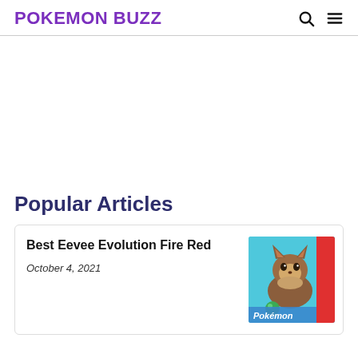POKEMON BUZZ
Popular Articles
Best Eevee Evolution Fire Red
October 4, 2021
[Figure (illustration): Eevee Pokemon game screenshot with colorful Pokemon-themed graphics]